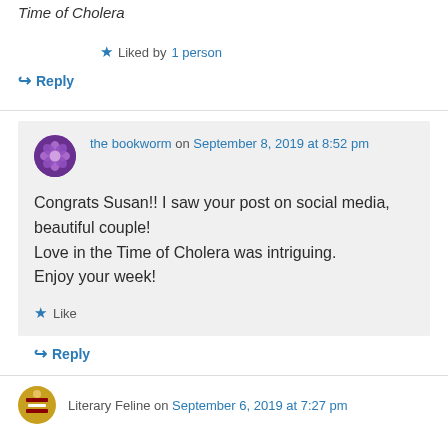Time of Cholera
★ Liked by 1 person
↪ Reply
the bookworm on September 8, 2019 at 8:52 pm
Congrats Susan!! I saw your post on social media, beautiful couple!
Love in the Time of Cholera was intriguing.
Enjoy your week!
★ Like
↪ Reply
Literary Feline on September 6, 2019 at 7:27 pm